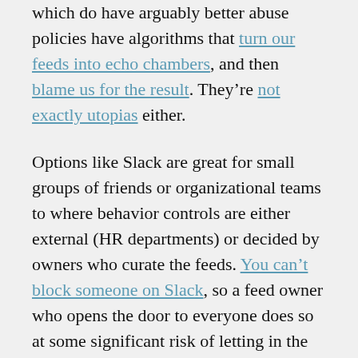which do have arguably better abuse policies have algorithms that turn our feeds into echo chambers, and then blame us for the result. They're not exactly utopias either.
Options like Slack are great for small groups of friends or organizational teams to where behavior controls are either external (HR departments) or decided by owners who curate the feeds. You can't block someone on Slack, so a feed owner who opens the door to everyone does so at some significant risk of letting in the trolls.
We've got fantastically smart readers. We've heard from a number of you that you'd love to write for us, but you can't think of a topic